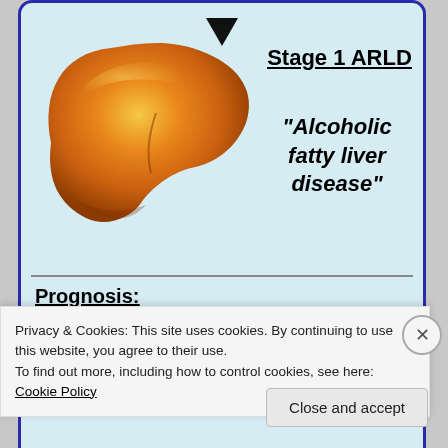[Figure (illustration): Medical infographic card showing a fatty liver illustration with a downward arrow above it on a light blue background with dark blue border. Text labels Stage 1 ARLD and Alcoholic fatty liver disease beside the liver image. Below a horizontal divider: Prognosis section stating Reversible if abstain from alcohol for two weeks.]
Privacy & Cookies: This site uses cookies. By continuing to use this website, you agree to their use.
To find out more, including how to control cookies, see here: Cookie Policy
Close and accept